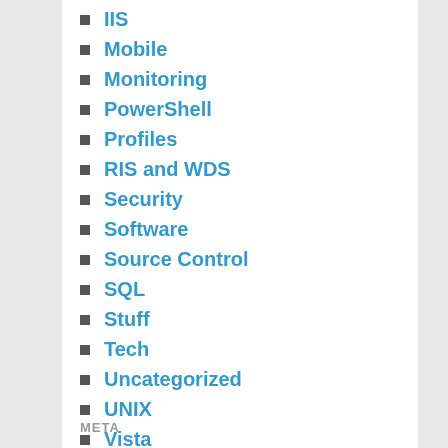IIS
Mobile
Monitoring
PowerShell
Profiles
RIS and WDS
Security
Software
Source Control
SQL
Stuff
Tech
Uncategorized
UNIX
Vista
VMWare
Windows7
Windows8
WindowsServer
META